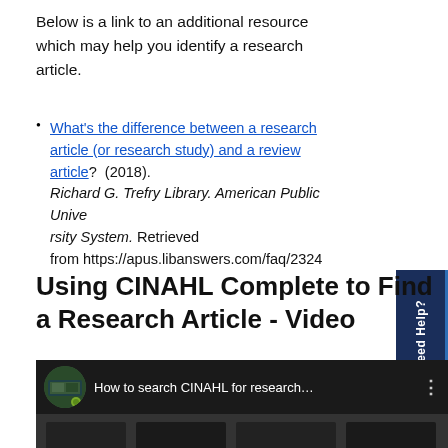Below is a link to an additional resource which may help you identify a research article.
What's the difference between a research article (or research study) and a review article? (2018). Richard G. Trefry Library. American Public University System. Retrieved from https://apus.libanswers.com/faq/2324
Using CINAHL Complete to Find a Research Article - Video
[Figure (screenshot): YouTube video thumbnail showing 'How to search CINAHL for research...' with a library channel icon]